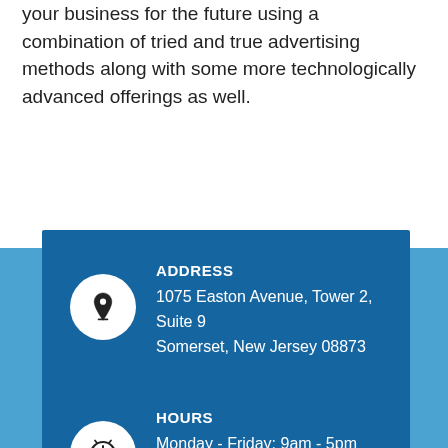your business for the future using a combination of tried and true advertising methods along with some more technologically advanced offerings as well.
[Figure (infographic): Blue contact info card with address and hours on a light blue background. ADDRESS: 1075 Easton Avenue, Tower 2, Suite 9, Somerset, New Jersey 08873. HOURS: Monday - Friday: 9am - 5pm, Saturday - Sunday: Closed.]